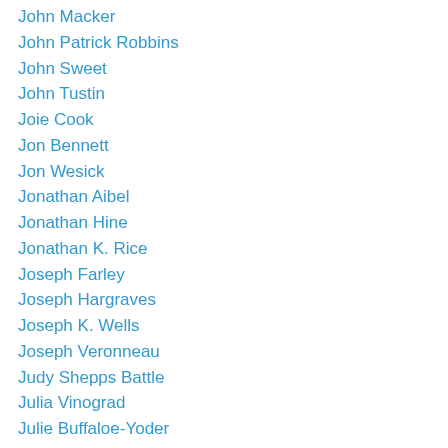John Macker
John Patrick Robbins
John Sweet
John Tustin
Joie Cook
Jon Bennett
Jon Wesick
Jonathan Aibel
Jonathan Hine
Jonathan K. Rice
Joseph Farley
Joseph Hargraves
Joseph K. Wells
Joseph Veronneau
Judy Shepps Battle
Julia Vinograd
Julie Buffaloe-Yoder
Justin Hyde
justin wade thompson
Karl Koweski